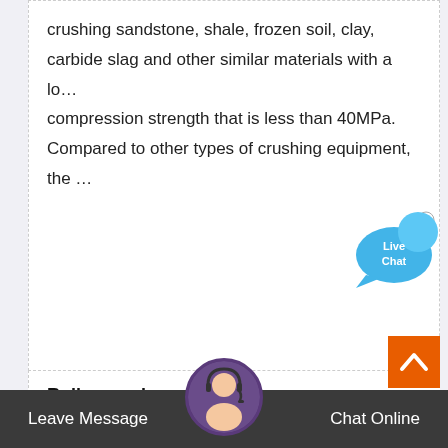crushing sandstone, shale, frozen soil, clay, carbide slag and other similar materials with a lo... compression strength that is less than 40MPa. Compared to other types of crushing equipment, the …
[Figure (illustration): Live Chat speech bubble icon in blue with text 'Live Chat']
Roller crushers
The HÄNDLE roller crusher series. Roller crushers render cloddy raw materials meterable and pre-pare them for effective further processi… in downstream equip-ment. Size reduction is achieved by application of pressure and shear forces between two slo... rotating rollers
[Figure (illustration): Orange scroll-to-top button with upward chevron arrow]
[Figure (photo): Avatar photo of a woman with headset, representing chat support agent]
Leave Message   Chat Online